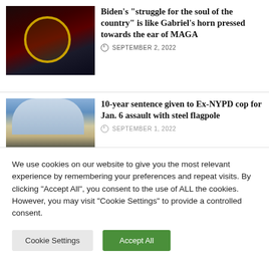[Figure (photo): Biden speaking at podium with presidential seal against dark red dramatic lighting background]
Biden’s “struggle for the soul of the country” is like Gabriel’s horn pressed towards the ear of MAGA
SEPTEMBER 2, 2022
[Figure (photo): Capitol building with crowd of protesters with flags in the foreground]
10-year sentence given to Ex-NYPD cop for Jan. 6 assault with steel flagpole
SEPTEMBER 1, 2022
We use cookies on our website to give you the most relevant experience by remembering your preferences and repeat visits. By clicking “Accept All”, you consent to the use of ALL the cookies. However, you may visit “Cookie Settings” to provide a controlled consent.